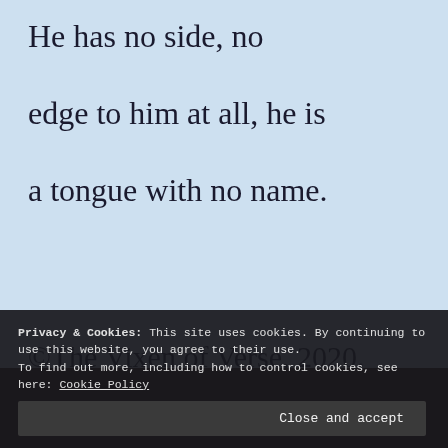He has no side, no

edge to him at all, he is

a tongue with no name.
©The Vixen of Verse, 2020.
Privacy & Cookies: This site uses cookies. By continuing to use this website, you agree to their use.
To find out more, including how to control cookies, see here: Cookie Policy
Close and accept
[Figure (photo): Dark photo strip at the bottom of the page showing a partial view of a person]